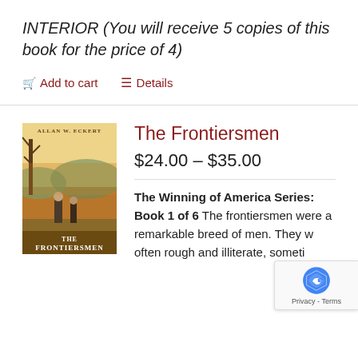INTERIOR (You will receive 5 copies of this book for the price of 4)
Add to cart   Details
[Figure (photo): Book cover of 'The Frontiersmen' by Allan W. Eckert, showing a frontier scene with figures in an autumn landscape.]
The Frontiersmen
$24.00 – $35.00
The Winning of America Series: Book 1 of 6 The frontiersmen were a remarkable breed of men. They were often rough and illiterate, someti... but always...